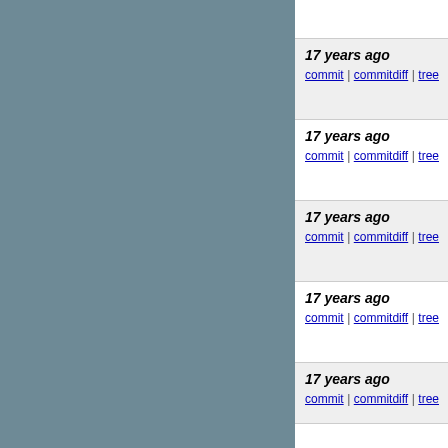PAL7913. make QuadDelete()
17 years ago | commit | commitdiff | tree | PAL7913. Add static ShellPo... | eap [Tue, 1 Feb 2005 0... | PAL7913. Add static ShellPoir...
17 years ago | commit | commitdiff | tree | PAL7913. Add static ShellPo... | eap [Tue, 1 Feb 2005 0... | PAL7913. Add static ShellPoir...
17 years ago | commit | commitdiff | tree | Do not try to compute sub-n... | eap [Tue, 1 Feb 2005 0... | Do not try to compute sub-mes...
17 years ago | commit | commitdiff | tree | PAL7935. In Load(face), load... | eap [Mon, 31 Jan 2005... | PAL7935. In Load(face), load t...
17 years ago | commit | commitdiff | tree | PAL7926. Add missing retur... | eap [Mon, 31 Jan 2005...